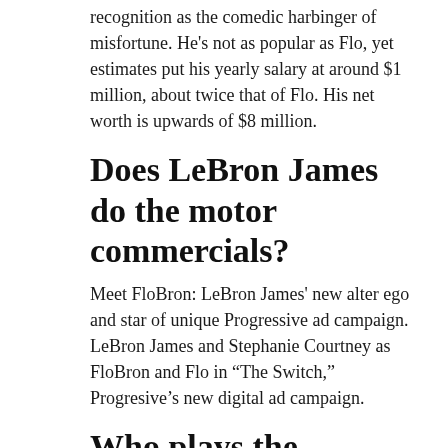recognition as the comedic harbinger of misfortune. He's not as popular as Flo, yet estimates put his yearly salary at around $1 million, about twice that of Flo. His net worth is upwards of $8 million.
Does LeBron James do the motor commercials?
Meet FloBron: LeBron James' new alter ego and star of unique Progressive ad campaign. LeBron James and Stephanie Courtney as FloBron and Flo in “The Switch,” Progresive’s new digital ad campaign.
Who plays the Motaur guy?
actor Terrence Terrell